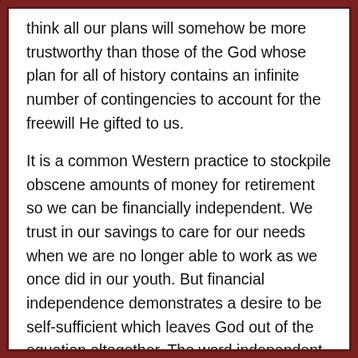think all our plans will somehow be more trustworthy than those of the God whose plan for all of history contains an infinite number of contingencies to account for the freewill He gifted to us.
It is a common Western practice to stockpile obscene amounts of money for retirement so we can be financially independent. We trust in our savings to care for our needs when we are no longer able to work as we once did in our youth. But financial independence demonstrates a desire to be self-sufficient which leaves God out of the equation altogether. The word independent should never be part of the story of a disciple of Jesus. We are